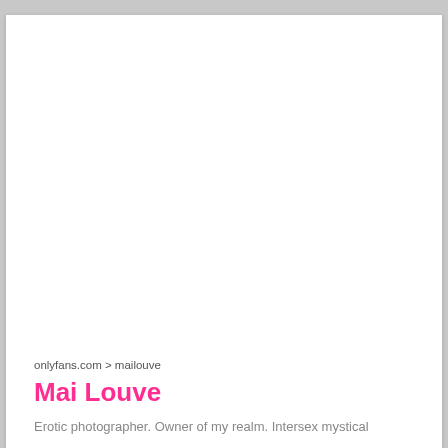onlyfans.com > mailouve
Mai Louve
Erotic photographer. Owner of my realm. Intersex mystical